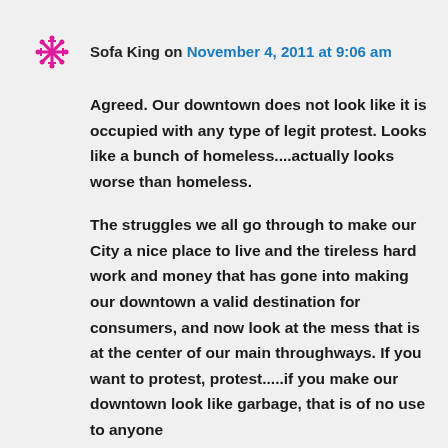Sofa King on November 4, 2011 at 9:06 am
Agreed. Our downtown does not look like it is occupied with any type of legit protest. Looks like a bunch of homeless....actually looks worse than homeless.
The struggles we all go through to make our City a nice place to live and the tireless hard work and money that has gone into making our downtown a valid destination for consumers, and now look at the mess that is at the center of our main throughways. If you want to protest, protest.....if you make our downtown look like garbage, that is of no use to anyone